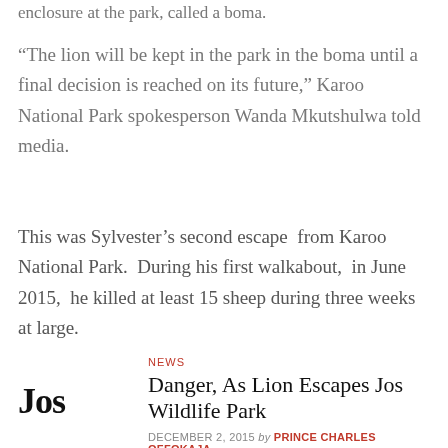enclosure at the park, called a boma.
“The lion will be kept in the park in the boma until a final decision is reached on its future,” Karoo National Park spokesperson Wanda Mkutshulwa told media.
This was Sylvester’s second escape from Karoo National Park. During his first walkabout, in June 2015, he killed at least 15 sheep during three weeks at large.
Jos
NEWS
Danger, As Lion Escapes Jos Wildlife Park
DECEMBER 2, 2015 by PRINCE CHARLES OFFOKAJA